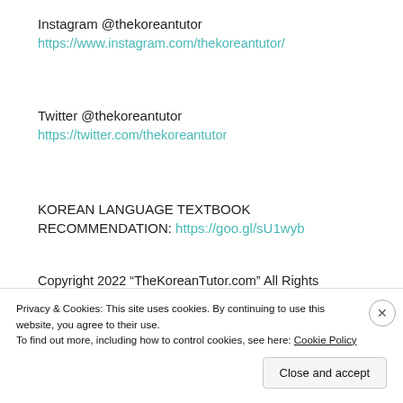Instagram @thekoreantutor
https://www.instagram.com/thekoreantutor/
Twitter @thekoreantutor
https://twitter.com/thekoreantutor
KOREAN LANGUAGE TEXTBOOK RECOMMENDATION: https://goo.gl/sU1wyb
Copyright 2022 “TheKoreanTutor.com” All Rights Reserved.
Feel Free to Share with
Privacy & Cookies: This site uses cookies. By continuing to use this website, you agree to their use.
To find out more, including how to control cookies, see here: Cookie Policy
Close and accept